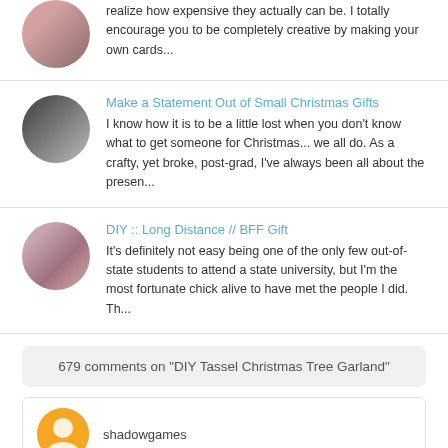realize how expensive they actually can be. I totally encourage you to be completely creative by making your own cards...
Make a Statement Out of Small Christmas Gifts
I know how it is to be a little lost when you don't know what to get someone for Christmas... we all do. As a crafty, yet broke, post-grad, I've always been all about the presen...
DIY :: Long Distance // BFF Gift
It's definitely not easy being one of the only few out-of-state students to attend a state university, but I'm the most fortunate chick alive to have met the people I did. Th...
679 comments on "DIY Tassel Christmas Tree Garland"
shadowgames